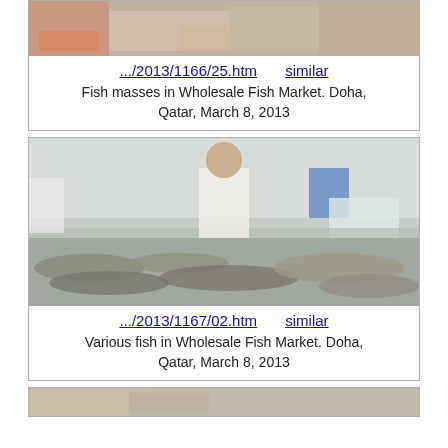[Figure (photo): Fish displayed at Wholesale Fish Market, Doha, Qatar - partial top view]
.../2013/1166/25.htm    similar
Fish masses in Wholesale Fish Market. Doha, Qatar, March 8, 2013
[Figure (photo): Man standing behind display of various fish at Wholesale Fish Market, Doha, Qatar]
.../2013/1167/02.htm    similar
Various fish in Wholesale Fish Market. Doha, Qatar, March 8, 2013
[Figure (photo): Partial view of another fish market photo (cropped at bottom of page)]